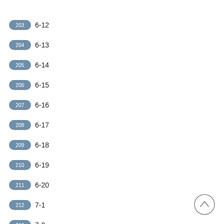6-12
6-13
6-14
6-15
6-16
6-17
6-18
6-19
6-20
7-1
7-2